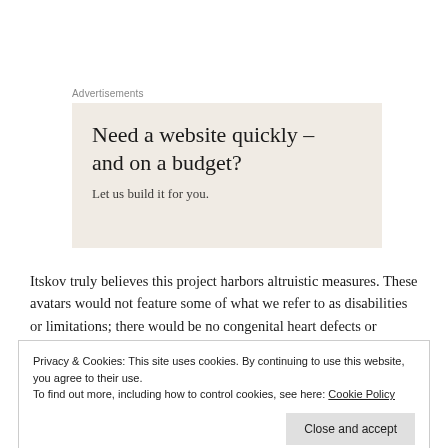Advertisements
[Figure (other): Advertisement banner with beige background. Headline: 'Need a website quickly – and on a budget?' Subtext: 'Let us build it for you.']
Itskov truly believes this project harbors altruistic measures. These avatars would not feature some of what we refer to as disabilities or limitations; there would be no congenital heart defects or missing limbs. He believes that avatars will
Privacy & Cookies: This site uses cookies. By continuing to use this website, you agree to their use.
To find out more, including how to control cookies, see here: Cookie Policy
Close and accept